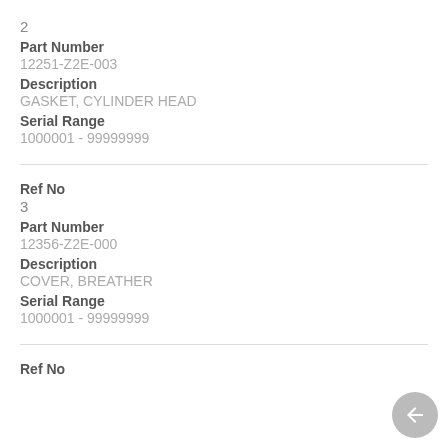2
Part Number
12251-Z2E-003
Description
GASKET, CYLINDER HEAD
Serial Range
1000001 - 99999999
Ref No
3
Part Number
12356-Z2E-000
Description
COVER, BREATHER
Serial Range
1000001 - 99999999
Ref No